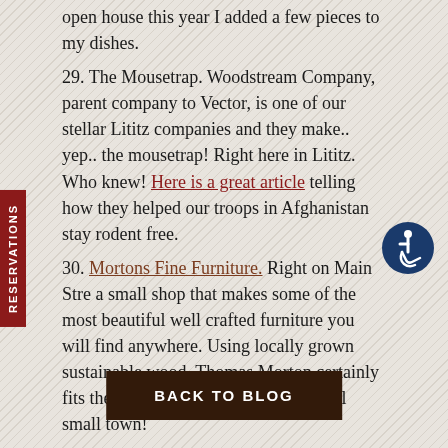open house this year I added a few pieces to my dishes.
29. The Mousetrap.  Woodstream Company, parent company to Vector, is one of our stellar Lititz companies and they make.. yep.. the mousetrap! Right here in Lititz. Who knew! Here is a great article telling how they helped our troops in Afghanistan stay rodent free.
30. Mortons Fine Furniture.  Right on Main Stre... a small shop that makes some of the most beautiful well crafted furniture you will find anywhere.  Using locally grown sustainable wood, Thomas Morton certainly fits the bill for why Lititz is such a cool small town!
[Figure (other): Accessibility icon — blue circle with white wheelchair user symbol]
BACK TO BLOG